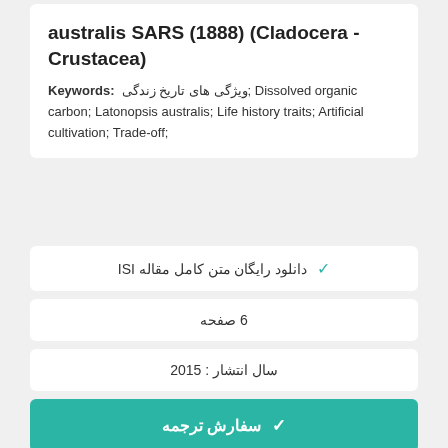australis SARS (1888) (Cladocera - Crustacea)
Keywords: ویژگی های تاریخ زندگی; Dissolved organic carbon; Latonopsis australis; Life history traits; Artificial cultivation; Trade-off;
✓ دانلود رایگان متن کامل مقاله ISI
6 صفحه
سال انتشار : 2015
✓ سفارش ترجمه